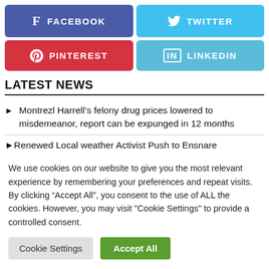[Figure (infographic): Four social media share buttons arranged in a 2x2 grid: Facebook (blue-purple), Twitter (light blue), Pinterest (red), LinkedIn (light blue)]
LATEST NEWS
Montrezl Harrell's felony drug prices lowered to misdemeanor, report can be expunged in 12 months
Renewed Local weather Activist Push to Ensnare
We use cookies on our website to give you the most relevant experience by remembering your preferences and repeat visits. By clicking "Accept All", you consent to the use of ALL the cookies. However, you may visit "Cookie Settings" to provide a controlled consent.